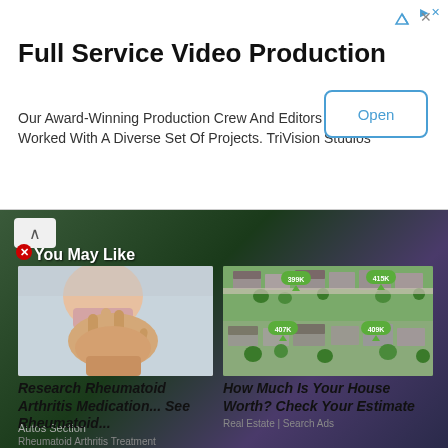Full Service Video Production
Our Award-Winning Production Crew And Editors Have Worked With A Diverse Set Of Projects. TriVision Studios
[Figure (screenshot): Advertisement banner with Open button]
[Figure (screenshot): Web page content area showing 'You May Like' advertisement section with two ad thumbnails: one for Rheumatoid Arthritis Medication showing elderly woman's hands, and one for How Much Is Your House Worth showing aerial real estate photos with price markers (399K, 415K, 407K, 409K)]
Research Rheumatoid Arthritis Medication... See Rheumatoid...
How Much Is Your House Worth? Check Your Estimate
Rheumatoid Arthritis Treatment
Real Estate | Search Ads